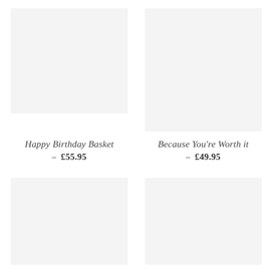[Figure (photo): Product image placeholder top left - light grey rectangle]
[Figure (photo): Product image placeholder top right - light grey rectangle]
Happy Birthday Basket — £55.95
Because You're Worth it — £49.95
[Figure (photo): Product image placeholder bottom left - light grey rectangle]
[Figure (photo): Product image placeholder bottom right - light grey rectangle]